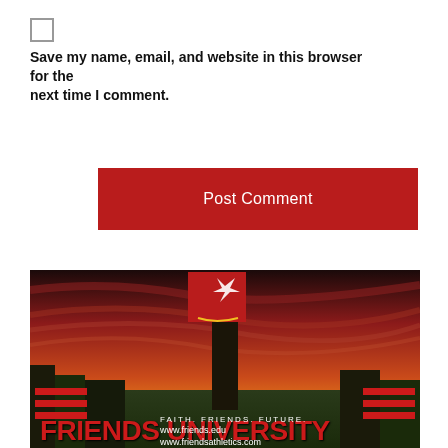Save my name, email, and website in this browser for the next time I comment.
Post Comment
[Figure (photo): Friends University advertisement banner showing aerial photo of campus at sunset with red sky, university clock tower in center, red logo with bird on red square at top, text reading FRIENDS UNIVERSITY, FAITH. FRIENDS. FUTURE., www.friends.edu, www.friendsathletics.com]